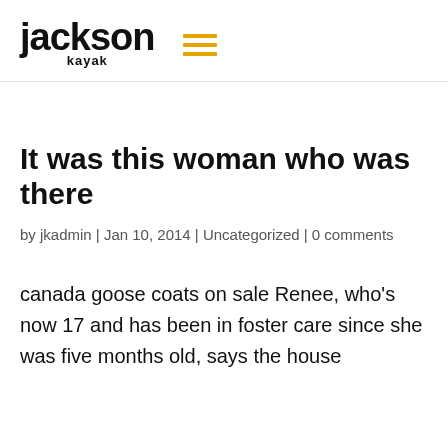Jackson Kayak
It was this woman who was there
by jkadmin | Jan 10, 2014 | Uncategorized | 0 comments
canada goose coats on sale Renee, who's now 17 and has been in foster care since she was five months old, says the house